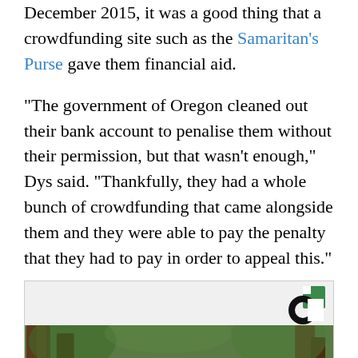December 2015, it was a good thing that a crowdfunding site such as the Samaritan's Purse gave them financial aid.
"The government of Oregon cleaned out their bank account to penalise them without their permission, but that wasn't enough," Dys said. "Thankfully, they had a whole bunch of crowdfunding that came alongside them and they were able to pay the penalty that they had to pay in order to appeal this."
[Figure (photo): Outdoor photo of trees and a sign partially visible at the bottom reading something like 'LIFELINE', with a circular logo (resembling the Guardian/media outlet icon) in the top right corner of the image box.]